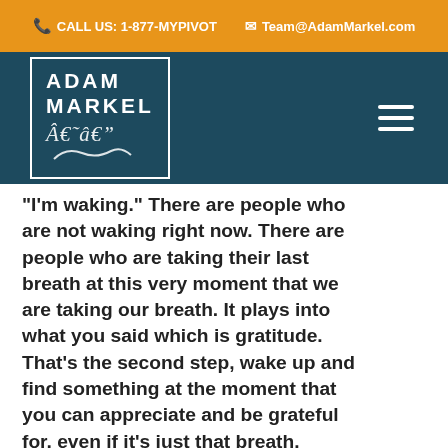CALL US: 1-877-MYPIVOT   Team@AdamMarkel.com
[Figure (logo): Adam Markel logo — white text on dark teal background with border and signature]
"I'm waking." There are people who are not waking right now. There are people who are taking their last breath at this very moment that we are taking our breath. It plays into what you said which is gratitude. That's the second step, wake up and find something at the moment that you can appreciate and be grateful for, even if it's just that breath. Thirdly, and this goes back to what you and I talk about, what words come out of your mouth?